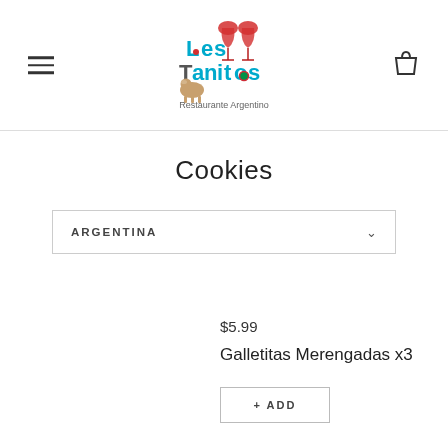[Figure (logo): Los Tanitos Restaurante Argentino logo with wine glasses and cow illustration]
Cookies
ARGENTINA
$5.99
Galletitas Merengadas x3
+ ADD